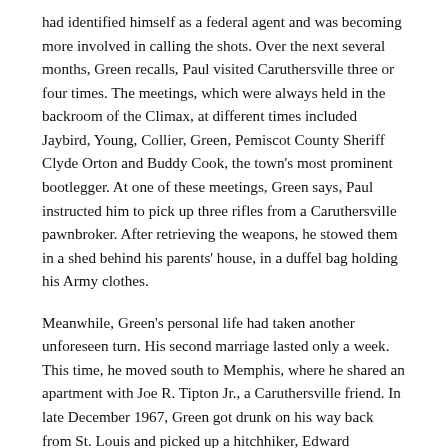had identified himself as a federal agent and was becoming more involved in calling the shots. Over the next several months, Green recalls, Paul visited Caruthersville three or four times. The meetings, which were always held in the backroom of the Climax, at different times included Jaybird, Young, Collier, Green, Pemiscot County Sheriff Clyde Orton and Buddy Cook, the town's most prominent bootlegger. At one of these meetings, Green says, Paul instructed him to pick up three rifles from a Caruthersville pawnbroker. After retrieving the weapons, he stowed them in a shed behind his parents' house, in a duffel bag holding his Army clothes.
Meanwhile, Green's personal life had taken another unforeseen turn. His second marriage lasted only a week. This time, he moved south to Memphis, where he shared an apartment with Joe R. Tipton Jr., a Caruthersville friend. In late December 1967, Green got drunk on his way back from St. Louis and picked up a hitchhiker, Edward Fatzsinger. Once they reached the Bootheel, they stopped at the Idle